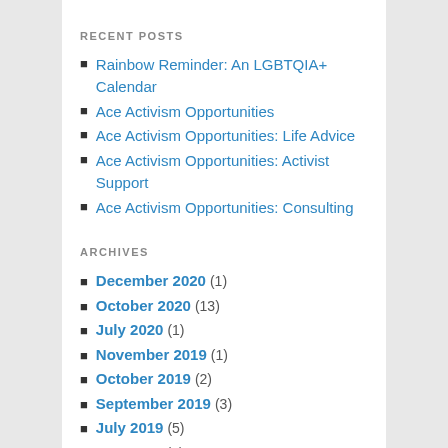RECENT POSTS
Rainbow Reminder: An LGBTQIA+ Calendar
Ace Activism Opportunities
Ace Activism Opportunities: Life Advice
Ace Activism Opportunities: Activist Support
Ace Activism Opportunities: Consulting
ARCHIVES
December 2020 (1)
October 2020 (13)
July 2020 (1)
November 2019 (1)
October 2019 (2)
September 2019 (3)
July 2019 (5)
May 2019 (1)
April 2019 (3)
October 2018 (4)
August 2018 (1)
June 2018 (2)